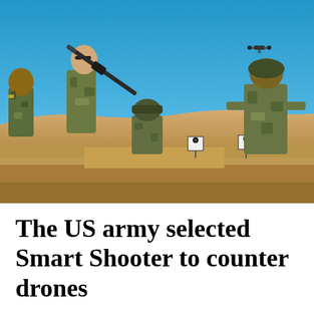[Figure (photo): Military soldiers in camouflage uniforms at an outdoor shooting range in a desert landscape. One soldier is aiming a rifle upward toward a drone visible in the bright blue sky. Other soldiers stand or kneel observing. Paper shooting targets are visible downrange. Sandy desert terrain and tan hills in the background.]
The US army selected Smart Shooter to counter drones